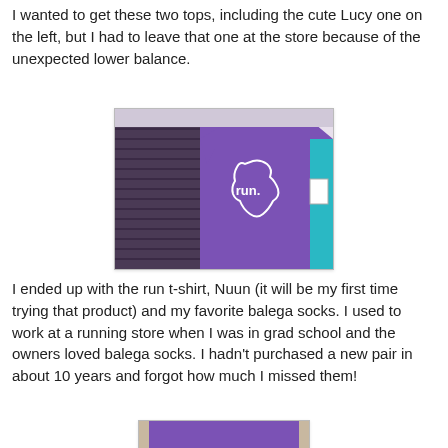I wanted to get these two tops, including the cute Lucy one on the left, but I had to leave that one at the store because of the unexpected lower balance.
[Figure (photo): Two tops hanging on hangers: a dark purple/black striped long-sleeve top on the left and a purple t-shirt on the right with an outline of Wisconsin state and the word 'run.' printed on it. A teal/blue garment is visible on the far right.]
I ended up with the run t-shirt, Nuun (it will be my first time trying that product) and my favorite balega socks. I used to work at a running store when I was in grad school and the owners loved balega socks. I hadn't purchased a new pair in about 10 years and forgot how much I missed them!
[Figure (photo): A purple garment laid out flat, partially visible at the bottom of the page, appearing to be on a counter or table surface.]